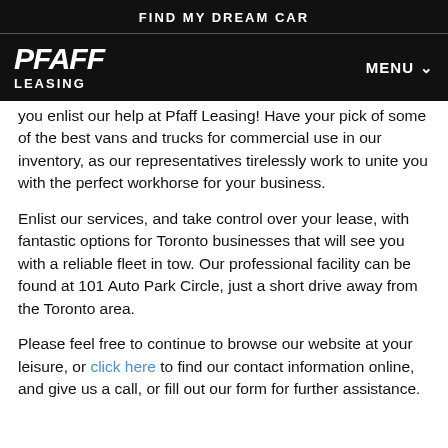FIND MY DREAM CAR
[Figure (logo): Pfaff Leasing logo in white italic bold text on black background, with LEASING text below]
you enlist our help at Pfaff Leasing! Have your pick of some of the best vans and trucks for commercial use in our inventory, as our representatives tirelessly work to unite you with the perfect workhorse for your business.
Enlist our services, and take control over your lease, with fantastic options for Toronto businesses that will see you with a reliable fleet in tow. Our professional facility can be found at 101 Auto Park Circle, just a short drive away from the Toronto area.
Please feel free to continue to browse our website at your leisure, or click here to find our contact information online, and give us a call, or fill out our form for further assistance.